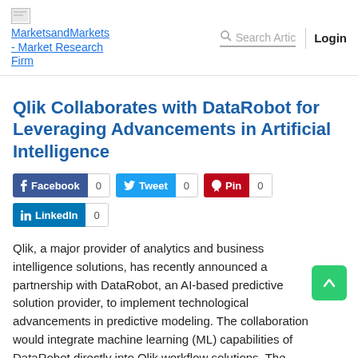MarketsandMarkets - Market Research Firm | Search Artic | Login
Qlik Collaborates with DataRobot for Leveraging Advancements in Artificial Intelligence
[Figure (infographic): Social share buttons: Facebook 0, Tweet 0, Pin 0, LinkedIn 0]
Qlik, a major provider of analytics and business intelligence solutions, has recently announced a partnership with DataRobot, an AI-based predictive solution provider, to implement technological advancements in predictive modeling. The collaboration would integrate machine learning (ML) capabilities of DataRobot directly into Qlik workflow solutions. The integration would enable business users to gain